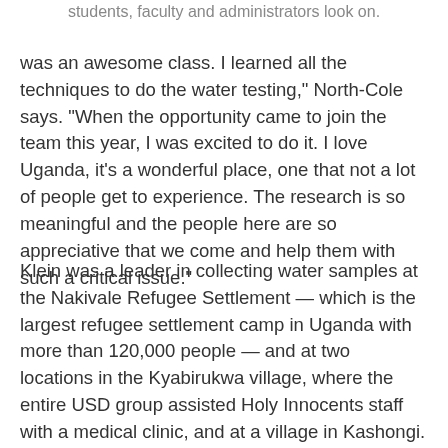students, faculty and administrators look on.
was an awesome class. I learned all the techniques to do the water testing," North-Cole says. "When the opportunity came to join the team this year, I was excited to do it. I love Uganda, it's a wonderful place, one that not a lot of people get to experience. The research is so meaningful and the people here are so appreciative that we come and help them with such a critical issue."
Klein was a leader in collecting water samples at the Nakivale Refugee Settlement — which is the largest refugee settlement camp in Uganda with more than 120,000 people — and at two locations in the Kyabirukwa village, where the entire USD group assisted Holy Innocents staff with a medical clinic, and at a village in Kashongi.